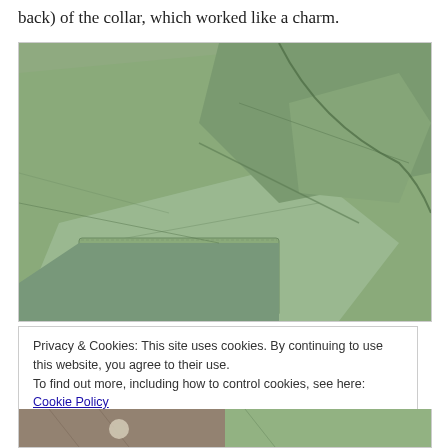back) of the collar, which worked like a charm.
[Figure (photo): Close-up photo of a sage/mint green shirt collar and sleeve, showing button cuff detail and fabric folds against a brown background.]
Privacy & Cookies: This site uses cookies. By continuing to use this website, you agree to their use.
To find out more, including how to control cookies, see here: Cookie Policy
Close and accept
[Figure (photo): Bottom strip showing two partial photos: left side brownish fabric, right side green/mint fabric.]